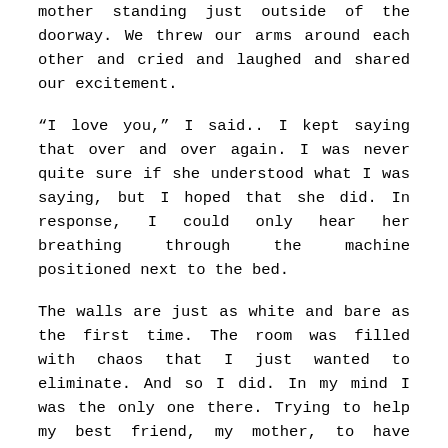mother standing just outside of the doorway. We threw our arms around each other and cried and laughed and shared our excitement.
“I love you,” I said.. I kept saying that over and over again. I was never quite sure if she understood what I was saying, but I hoped that she did. In response, I could only hear her breathing through the machine positioned next to the bed.
The walls are just as white and bare as the first time. The room was filled with chaos that I just wanted to eliminate. And so I did. In my mind I was the only one there. Trying to help my best friend, my mother, to have peace and comfort in her last hours. Trying to show her that I was brave and that I would be a survivor, when I was really filled with pain and sadness that was tearing me apart.